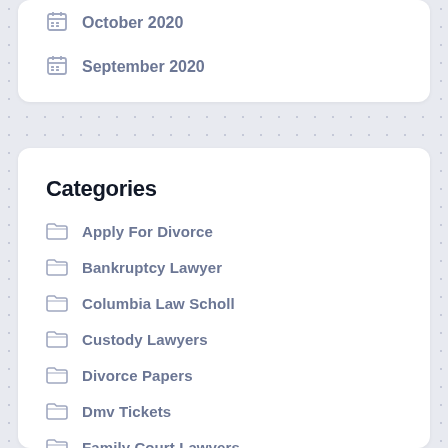October 2020
September 2020
Categories
Apply For Divorce
Bankruptcy Lawyer
Columbia Law Scholl
Custody Lawyers
Divorce Papers
Dmv Tickets
Family Court Lawyers
Family Law Att…